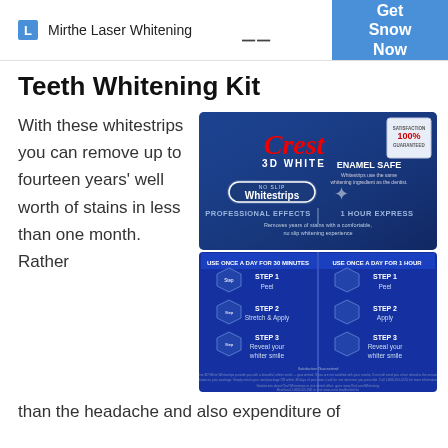L  Mirthe Laser Whitening   ≡   Get Snow Now
Teeth Whitening Kit
With these whitestrips you can remove up to fourteen years' well worth of stains in less than one month. Rather than the headache and also expenditure of
[Figure (photo): Crest 3D White No-Slip Whitestrips product box showing Professional Effects and 1 Hour Express variants, with step-by-step usage instructions on the back panel. 100% satisfaction guaranteed badge visible. Steps include Peel, Stretch & Apply, and Reveal your whiter smile.]